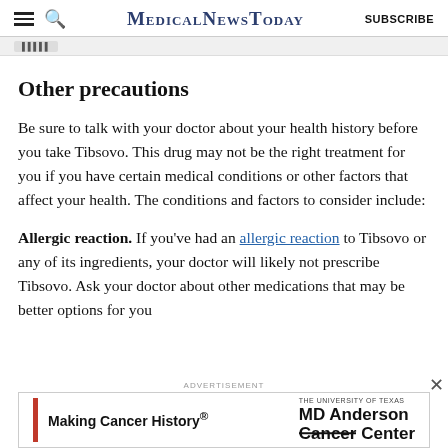MedicalNewsToday | SUBSCRIBE
Other precautions
Be sure to talk with your doctor about your health history before you take Tibsovo. This drug may not be the right treatment for you if you have certain medical conditions or other factors that affect your health. The conditions and factors to consider include:
Allergic reaction. If you've had an allergic reaction to Tibsovo or any of its ingredients, your doctor will likely not prescribe Tibsovo. Ask your doctor about other medications that may be better options for you.
[Figure (other): MD Anderson Cancer Center advertisement banner with red vertical bar, 'Making Cancer History®' text, and MD Anderson Cancer Center logo]